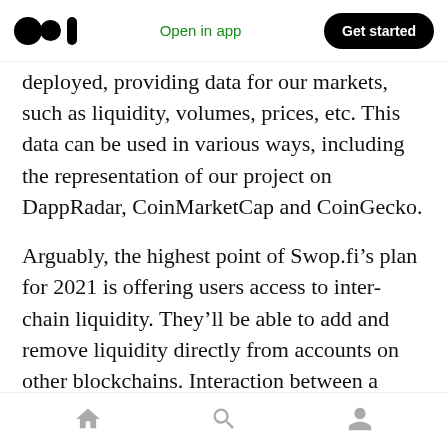Open in app | Get started
deployed, providing data for our markets, such as liquidity, volumes, prices, etc. This data can be used in various ways, including the representation of our project on DappRadar, CoinMarketCap and CoinGecko.
Arguably, the highest point of Swop.fi’s plan for 2021 is offering users access to inter-chain liquidity. They’ll be able to add and remove liquidity directly from accounts on other blockchains. Interaction between a user’s account and the Swop.fi smart contract will be done via gateways based on the Gravity inter-
Home | Search | Profile